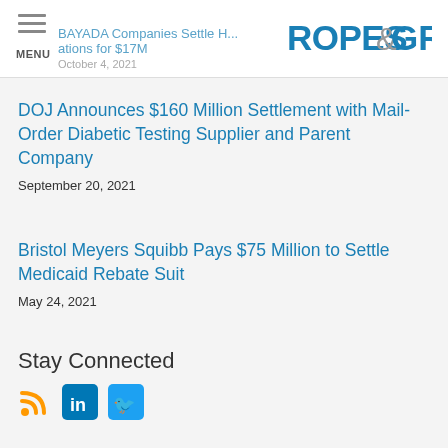BAYADA Companies Settle H... ations for $17M | ROPES & GRAY
October 4, 2021
DOJ Announces $160 Million Settlement with Mail-Order Diabetic Testing Supplier and Parent Company
September 20, 2021
Bristol Meyers Squibb Pays $75 Million to Settle Medicaid Rebate Suit
May 24, 2021
Stay Connected